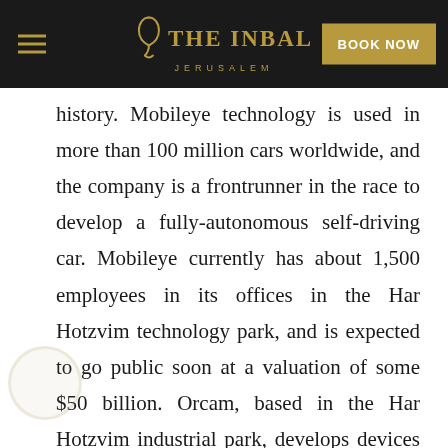THE INBAL JERUSALEM | BOOK NOW
history. Mobileye technology is used in more than 100 million cars worldwide, and the company is a frontrunner in the race to develop a fully-autonomous self-driving car. Mobileye currently has about 1,500 employees in its offices in the Har Hotzvim technology park, and is expected to go public soon at a valuation of some $50 billion. Orcam, based in the Har Hotzvim industrial park, develops devices to help blind or visually impaired people navigate day-